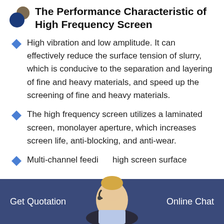The Performance Characteristic of High Frequency Screen
High vibration and low amplitude. It can effectively reduce the surface tension of slurry, which is conducive to the separation and layering of fine and heavy materials, and speed up the screening of fine and heavy materials.
The high frequency screen utilizes a laminated screen, monolayer aperture, which increases screen life, anti-blocking, and anti-wear.
Multi-channel feeding, high screen surface
Get Quotation    Online Chat